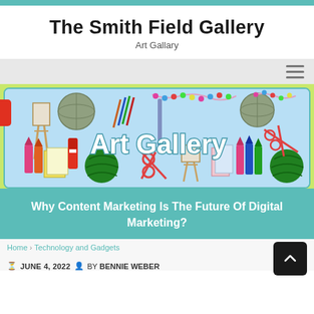The Smith Field Gallery
Art Gallary
[Figure (illustration): Art Gallery banner image with colorful art supplies (crayons, scissors, paintbrushes, yarn, paper, glue) on a light blue background with 'Art Gallery' text in white bold font. Yellow-green border around the banner.]
Why Content Marketing Is The Future Of Digital Marketing?
Home  Technology and Gadgets
JUNE 4, 2022  BY BENNIE WEBER